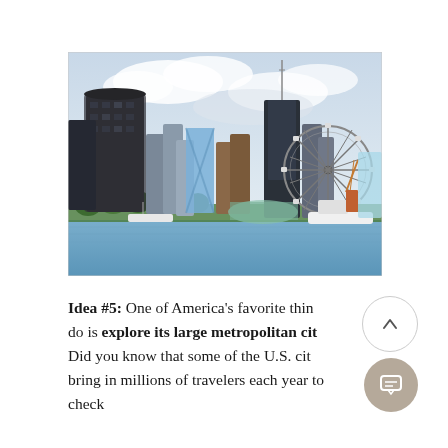[Figure (photo): Chicago skyline with skyscrapers including a dark cylindrical tower and the Willis (Sears) Tower with antenna, Navy Pier Ferris wheel visible on the right, waterfront with boats and greenery in the foreground, partly cloudy sky.]
Idea #5: One of America's favorite things to do is explore its large metropolitan cities. Did you know that some of the U.S. cities bring in millions of travelers each year to check